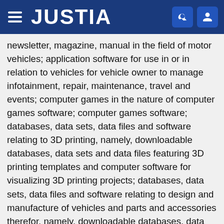JUSTIA
newsletter, magazine, manual in the field of motor vehicles; application software for use in or in relation to vehicles for vehicle owner to manage infotainment, repair, maintenance, travel and events; computer games in the nature of computer games software; computer games software; databases, data sets, data files and software relating to 3D printing, namely, downloadable databases, data sets and data files featuring 3D printing templates and computer software for visualizing 3D printing projects; databases, data sets, data files and software relating to design and manufacture of vehicles and parts and accessories therefor, namely, downloadable databases, data sets and data files featuring information on vehicle performance, and software for analyzing vehicle performance; databases, data sets, data files and software relating to design and manufacture of replica or model vehicles and parts and